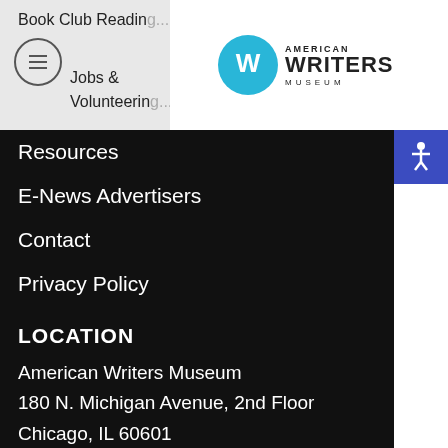Book Club Readings | Jobs & Volunteering
[Figure (logo): American Writers Museum logo with circular W icon and text AMERICAN WRITERS MUSEUM]
Resources
E-News Advertisers
Contact
Privacy Policy
LOCATION
American Writers Museum
180 N. Michigan Avenue, 2nd Floor
Chicago, IL 60601
American Writers Museum
Executive Offices
180 N. Michigan Avenue, Suite 300
Chicago, IL 60601